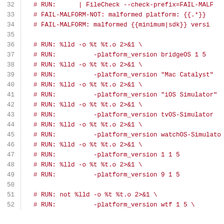Code listing lines 32-52: linker test script with RUN/FAIL-MALFORM directives and platform_version flags
32  # RUN:      | FileCheck --check-prefix=FAIL-MALF
33  # FAIL-MALFORM-NOT: malformed platform: {{.*}}
34  # FAIL-MALFORM: malformed {{minimum|sdk}} versi
35  (blank)
36  # RUN: %lld -o %t %t.o 2>&1 \
37  # RUN:          -platform_version bridgeOS 1 5
38  # RUN: %lld -o %t %t.o 2>&1 \
39  # RUN:          -platform_version "Mac Catalyst" .
40  # RUN: %lld -o %t %t.o 2>&1 \
41  # RUN:          -platform_version "iOS Simulator"
42  # RUN: %lld -o %t %t.o 2>&1 \
43  # RUN:          -platform_version tvOS-Simulator .
44  # RUN: %lld -o %t %t.o 2>&1 \
45  # RUN:          -platform_version watchOS-Simulato
46  # RUN: %lld -o %t %t.o 2>&1 \
47  # RUN:          -platform_version 1 1 5
48  # RUN: %lld -o %t %t.o 2>&1 \
49  # RUN:          -platform_version 9 1 5
50  (blank)
51  # RUN: not %lld -o %t %t.o 2>&1 \
52  # RUN:          -platform_version wtf 1 5 \